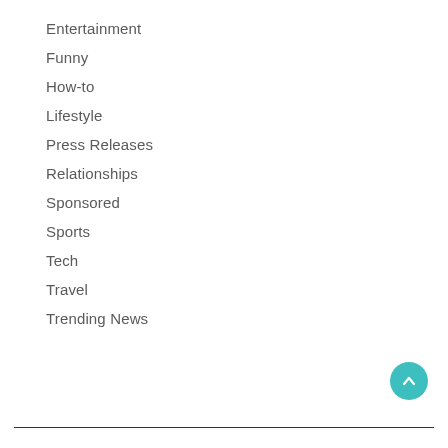Entertainment
Funny
How-to
Lifestyle
Press Releases
Relationships
Sponsored
Sports
Tech
Travel
Trending News